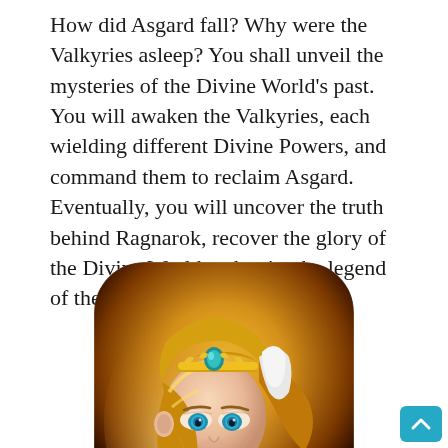How did Asgard fall? Why were the Valkyries asleep? You shall unveil the mysteries of the Divine World's past. You will awaken the Valkyries, each wielding different Divine Powers, and command them to reclaim Asgard. Eventually, you will uncover the truth behind Ragnarok, recover the glory of the Divine World and write the legend of the King of the Gods!
[Figure (illustration): A fantasy game app icon showing a female Valkyrie warrior with golden blonde hair, a teal/blue gemstone crown headpiece, white feather accent in her hair, blue eyes, and white fur-trimmed armor, rendered in a digital painting style against a warm golden background with rounded square corners.]